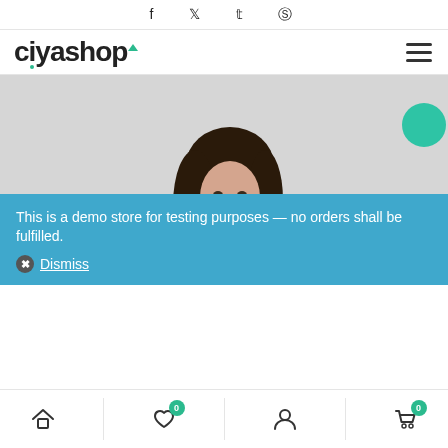f  t  v  p (social icons)
[Figure (logo): ciyashop logo with teal accent dot and triangle]
[Figure (photo): Woman with dark hair smiling, wearing black, on grey background with green teal circle button overlay]
This is a demo store for testing purposes — no orders shall be fulfilled.
Dismiss
Bottom navigation bar: home, wishlist (0), account, cart (0)